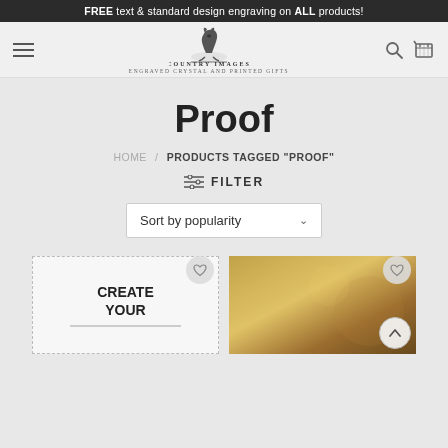FREE text & standard design engraving on ALL products!
[Figure (logo): Country Images logo with meerkat illustration, brand name 'COUNTRY IMAGES', subtitle 'ENGRAVED CRYSTAL AND PRINTED GIFTS']
Proof
HOME / PRODUCTS TAGGED "PROOF"
FILTER
Sort by popularity
[Figure (photo): Product card showing 'CREATE YOUR' text on white dotted-border card]
[Figure (photo): Product card showing a golden/brown engraved crystal product]